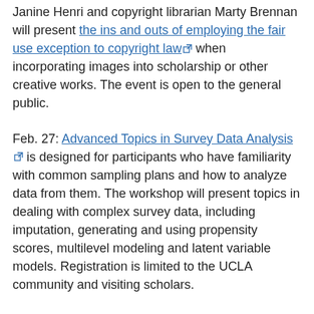Janine Henri and copyright librarian Marty Brennan will present the ins and outs of employing the fair use exception to copyright law [external link] when incorporating images into scholarship or other creative works. The event is open to the general public.
Feb. 27: Advanced Topics in Survey Data Analysis [external link] is designed for participants who have familiarity with common sampling plans and how to analyze data from them. The workshop will present topics in dealing with complex survey data, including imputation, generating and using propensity scores, multilevel modeling and latent variable models. Registration is limited to the UCLA community and visiting scholars.
March 5: The Moving Image Archival Research workshop [external link] will introduce students to the UCLA Film & Television Archive's catalog, considered the world's largest university-based moving image collection. Attendees will learn how to navigate a large and diverse